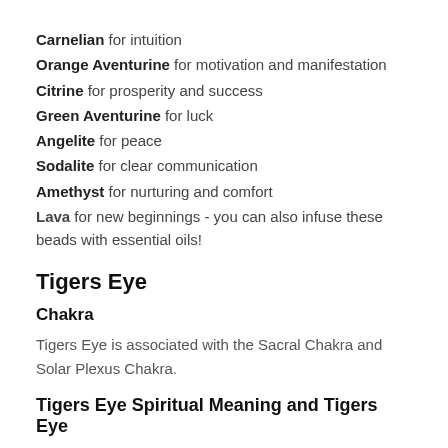Carnelian for intuition
Orange Aventurine for motivation and manifestation
Citrine for prosperity and success
Green Aventurine for luck
Angelite for peace
Sodalite for clear communication
Amethyst for nurturing and comfort
Lava for new beginnings - you can also infuse these beads with essential oils!
Tigers Eye
Chakra
Tigers Eye is associated with the Sacral Chakra and Solar Plexus Chakra.
Tigers Eye Spiritual Meaning and Tigers Eye Properties